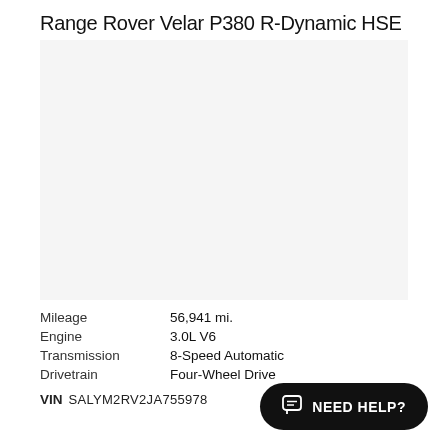Range Rover Velar P380 R-Dynamic HSE
[Figure (photo): Photo of a Range Rover Velar P380 R-Dynamic HSE vehicle]
Mileage	56,941 mi.
Engine	3.0L V6
Transmission	8-Speed Automatic
Drivetrain	Four-Wheel Drive
VIN SALYM2RV2JA755978